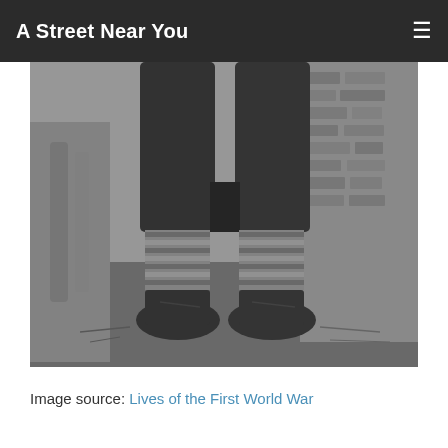A Street Near You
[Figure (photo): Black and white historical photograph showing the lower body of a person standing outdoors. The image shows the person's legs from the waist down, wearing dark trousers/breeches, patterned socks or puttees, and worn lace-up boots. The background shows rubble and wooden structures, suggesting a wartime setting.]
Image source: Lives of the First World War